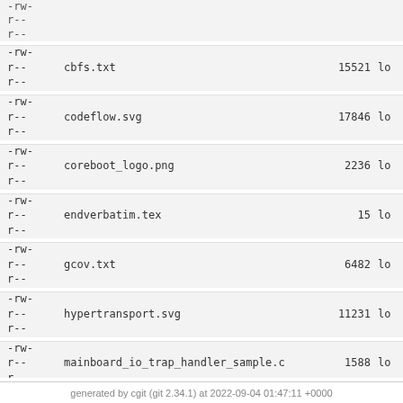| perm | name | size | log |
| --- | --- | --- | --- |
| -rw-r--r-- | cbfs.txt | 15521 | lo |
| -rw-r--r-- | codeflow.svg | 17846 | lo |
| -rw-r--r-- | coreboot_logo.png | 2236 | lo |
| -rw-r--r-- | endverbatim.tex | 15 | lo |
| -rw-r--r-- | gcov.txt | 6482 | lo |
| -rw-r--r-- | hypertransport.svg | 11231 | lo |
| -rw-r--r-- | mainboard_io_trap_handler_sample.c | 1588 | lo |
| -rw-r--r-- | submodules.txt | 1783 | lo |
generated by cgit (git 2.34.1) at 2022-09-04 01:47:11 +0000